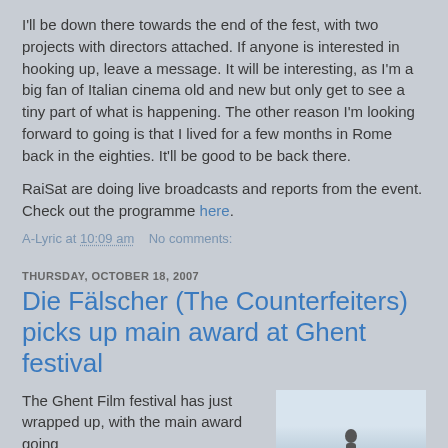I'll be down there towards the end of the fest, with two projects with directors attached. If anyone is interested in hooking up, leave a message. It will be interesting, as I'm a big fan of Italian cinema old and new but only get to see a tiny part of what is happening. The other reason I'm looking forward to going is that I lived for a few months in Rome back in the eighties. It'll be good to be back there.
RaiSat are doing live broadcasts and reports from the event. Check out the programme here.
A-Lyric at 10:09 am   No comments:
THURSDAY, OCTOBER 18, 2007
Die Fälscher (The Counterfeiters) picks up main award at Ghent festival
The Ghent Film festival has just wrapped up, with the main award going
[Figure (photo): Partial photograph showing a sky and a small human figure silhouette at the bottom center]